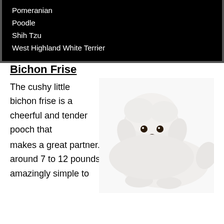Pomeranian
Poodle
Shih Tzu
West Highland White Terrier
Bichon Frise
[Figure (photo): A fluffy white Bichon Frise dog lying down, facing forward with mouth open and tongue slightly visible, on a white background.]
The cushy little bichon frise is a cheerful and tender pooch that makes a great partner. With a regular load of around 7 to 12 pounds, this small breed is amazingly simple to